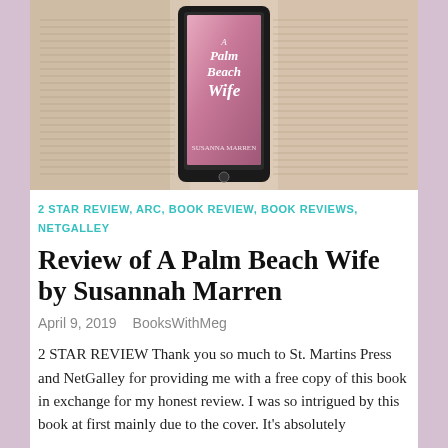[Figure (photo): Photo of a tablet/e-reader displaying the book cover 'A Palm Beach Wife by Susannah Marren' placed on top of open book pages spread out as background]
2 STAR REVIEW, ARC, BOOK REVIEW, BOOK REVIEWS, NETGALLEY
Review of A Palm Beach Wife by Susannah Marren
April 9, 2019   BooksWithMeg
2 STAR REVIEW Thank you so much to St. Martins Press and NetGalley for providing me with a free copy of this book in exchange for my honest review. I was so intrigued by this book at first mainly due to the cover. It's absolutely